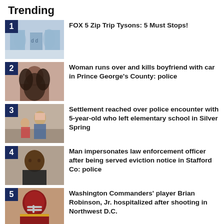Trending
1. FOX 5 Zip Trip Tysons: 5 Must Stops!
2. Woman runs over and kills boyfriend with car in Prince George's County: police
3. Settlement reached over police encounter with 5-year-old who left elementary school in Silver Spring
4. Man impersonates law enforcement officer after being served eviction notice in Stafford Co: police
5. Washington Commanders' player Brian Robinson, Jr. hospitalized after shooting in Northwest D.C.